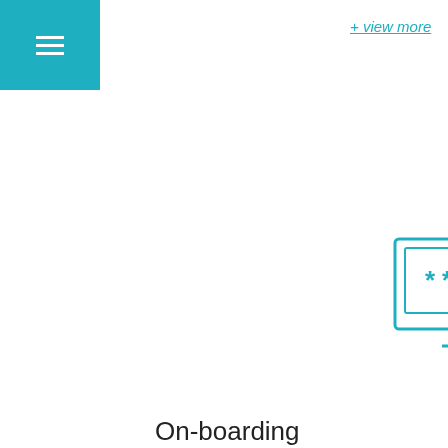[Figure (illustration): Teal/cyan top-left navigation hamburger menu bar]
+ view more
[Figure (illustration): Icon of monitor/desktop with asterisks (****) on screen representing password, with mobile device beside it — 2FA illustration, teal outline style]
On-boarding
2FA Rollout
+ view more
[Figure (illustration): Icon of a person/user with a checklist/form and checkmarks and X marks — teal style, partially visible at bottom]